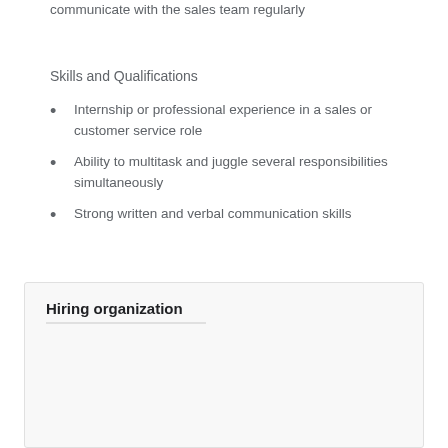communicate with the sales team regularly
Skills and Qualifications
Internship or professional experience in a sales or customer service role
Ability to multitask and juggle several responsibilities simultaneously
Strong written and verbal communication skills
Hiring organization